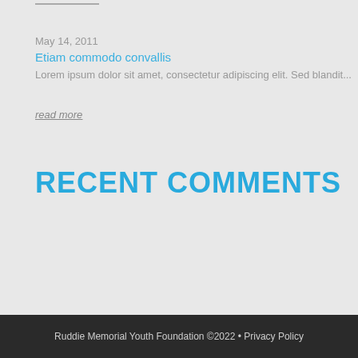May 14, 2011
Etiam commodo convallis
Lorem ipsum dolor sit amet, consectetur adipiscing elit. Sed blandit...
read more
RECENT COMMENTS
Ruddie Memorial Youth Foundation ©2022 • Privacy Policy